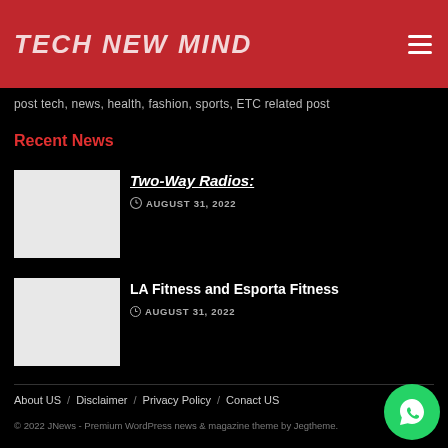TECH NEW MIND
post tech, news, health, fashion, sports, ETC related post
Recent News
[Figure (photo): Thumbnail image placeholder (white box) for Two-Way Radios article]
Two-Way Radios:
AUGUST 31, 2022
[Figure (photo): Thumbnail image placeholder (white box) for LA Fitness and Esporta Fitness article]
LA Fitness and Esporta Fitness
AUGUST 31, 2022
About US / Disclaimer / Privacy Policy / Conact US
© 2022 JNews - Premium WordPress news & magazine theme by Jegtheme.